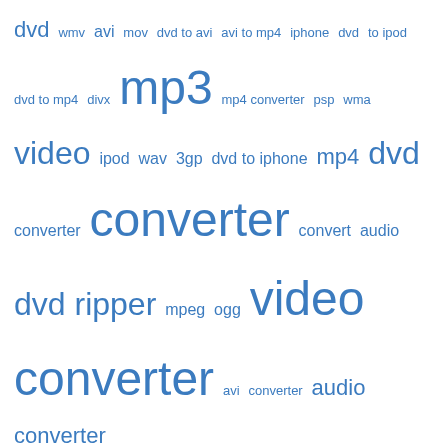[Figure (infographic): Tag cloud of media conversion related keywords in varying font sizes, all in blue color on white background. Terms include: dvd, wmv, avi, mov, dvd to avi, avi to mp4, iphone, dvd to ipod, dvd to mp4, divx, mp3, mp4 converter, psp, wma, video, ipod, wav, 3gp, dvd to iphone, mp4, dvd converter, converter, convert, audio, dvd ripper, mpeg, ogg, video converter, avi converter, audio converter.]
We use cookies
We use cookies and other tracking technologies to improve your browsing experience on our website, to show you personalized content and targeted ads, to analyze our website traffic, and to understand where our visitors are coming from.